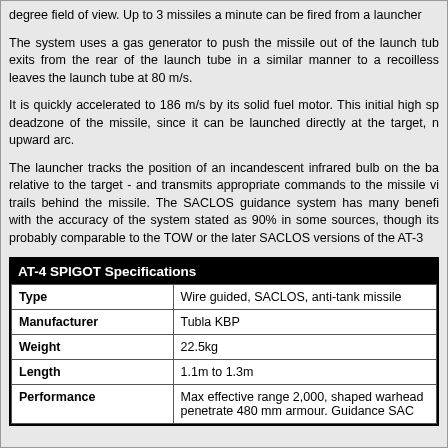degree field of view. Up to 3 missiles a minute can be fired from a launcher
The system uses a gas generator to push the missile out of the launch tube exits from the rear of the launch tube in a similar manner to a recoilless leaves the launch tube at 80 m/s.
It is quickly accelerated to 186 m/s by its solid fuel motor. This initial high sp deadzone of the missile, since it can be launched directly at the target, n upward arc.
The launcher tracks the position of an incandescent infrared bulb on the ba relative to the target - and transmits appropriate commands to the missile vi trails behind the missile. The SACLOS guidance system has many benefi with the accuracy of the system stated as 90% in some sources, though its probably comparable to the TOW or the later SACLOS versions of the AT-3
|  |  |
| --- | --- |
| Type | Wire guided, SACLOS, anti-tank missile |
| Manufacturer | Tubla KBP |
| Weight | 22.5kg |
| Length | 1.1m to 1.3m |
| Performance | Max effective range 2,000, shaped warhead penetrate 480 mm armour. Guidance SAC |